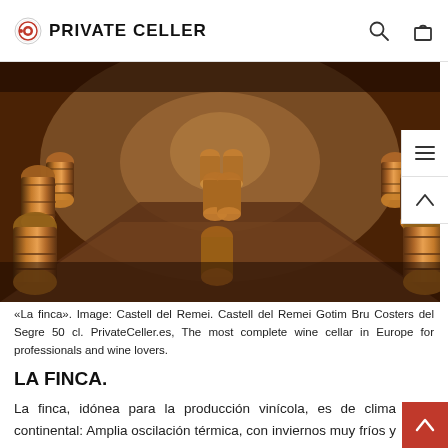PRIVATE CELLER
[Figure (photo): Wine cellar with rows of oak barrels stacked on both sides of a corridor, brown stone walls, dimly lit interior]
«La finca». Image: Castell del Remei. Castell del Remei Gotim Bru Costers del Segre 50 cl. PrivateCeller.es, The most complete wine cellar in Europe for professionals and wine lovers.
LA FINCA.
La finca, idónea para la producción vinícola, es de clima continental: Amplia oscilación térmica, con inviernos muy fríos y veranos calurosos; baja pluviometría;